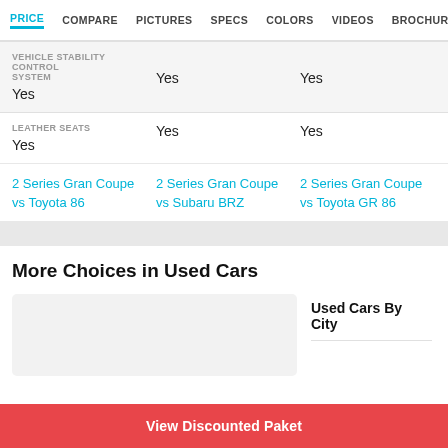PRICE  COMPARE  PICTURES  SPECS  COLORS  VIDEOS  BROCHUR
| VEHICLE STABILITY CONTROL SYSTEM
Yes | Yes | Yes |
| LEATHER SEATS
Yes | Yes | Yes |
2 Series Gran Coupe vs Toyota 86
2 Series Gran Coupe vs Subaru BRZ
2 Series Gran Coupe vs Toyota GR 86
More Choices in Used Cars
Used Cars By City
View Discounted Paket